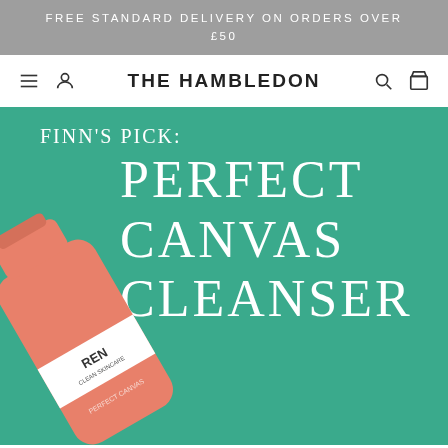FREE STANDARD DELIVERY ON ORDERS OVER £50
THE HAMBLEDON
[Figure (screenshot): Product promotional image showing REN Clean Skincare Perfect Canvas Cleanser tube on teal/green background with text overlay 'FINN'S PICK: PERFECT CANVAS CLEANSER']